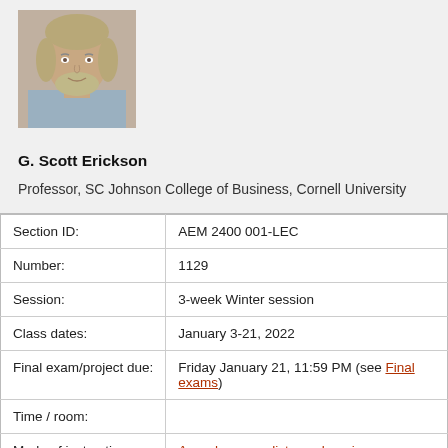[Figure (photo): Headshot photo of G. Scott Erickson, a middle-aged man with grey/blond hair and beard, wearing a light shirt.]
G. Scott Erickson
Professor, SC Johnson College of Business, Cornell University
| Field | Value |
| --- | --- |
| Section ID: | AEM 2400 001-LEC |
| Number: | 1129 |
| Session: | 3-week Winter session |
| Class dates: | January 3-21, 2022 |
| Final exam/project due: | Friday January 21, 11:59 PM (see Final exams) |
| Time / room: |  |
| Mode of instruction: | Asynchronous distance learning |